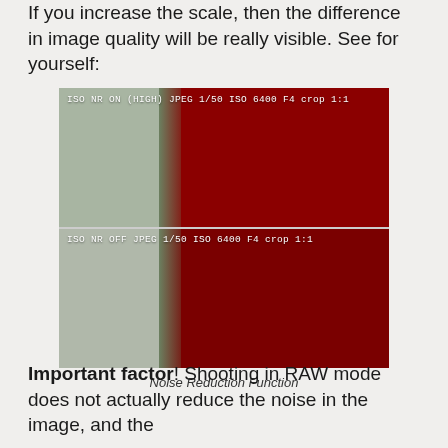If you increase the scale, then the difference in image quality will be really visible. See for yourself:
[Figure (photo): Comparison of two cropped photo samples showing noise reduction: top half labeled 'ISO NR ON (HIGH) JPEG 1/50 ISO 6400 F4 crop 1:1' and bottom half labeled 'ISO NR OFF JPEG 1/50 ISO 6400 F4 crop 1:1', both showing red fabric texture against a gray-green background.]
Noise Reduction Function
Important factor! Shooting in RAW mode does not actually reduce the noise in the image, and the